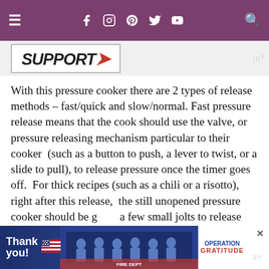Navigation bar with menu, social icons (Facebook, Instagram, Pinterest, Twitter, YouTube), and search
[Figure (logo): Website logo banner showing stylized text with red accent]
With this pressure cooker there are 2 types of release methods – fast/quick and slow/normal. Fast pressure release means that the cook should use the valve, or pressure releasing mechanism particular to their cooker  (such as a button to push, a lever to twist, or a slide to pull), to release pressure once the timer goes off.  For thick recipes (such as a chili or a risotto), right after this release,  the still unopened pressure cooker should be given a few small jolts to release any super-heated seam pockets in the food.   Slow pressure release pressure using the pressure releasing mechanism. By letting the machine release it for it, it lets the pressure...
[Figure (infographic): Share button (purple circle with share icon) and What's Next overlay showing Mom's Classic Stuffed... with food thumbnail]
[Figure (infographic): Bottom advertisement banner: Operation Gratitude thank-you ad with firefighters photo]